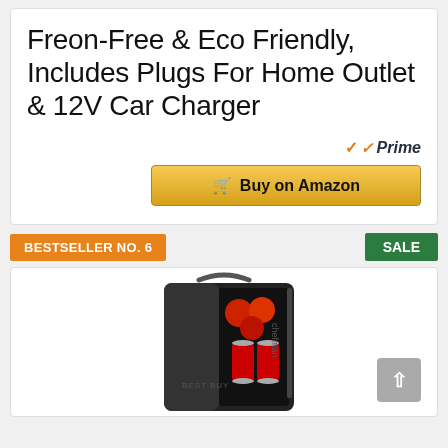Freon-Free & Eco Friendly, Includes Plugs For Home Outlet & 12V Car Charger
[Figure (screenshot): Amazon Prime badge with orange checkmark and italic 'Prime' text]
[Figure (screenshot): Gold 'Buy on Amazon' button with shopping cart icon]
BESTSELLER NO. 6
SALE
[Figure (photo): Black mini fridge/cooler open showing red cans and apples inside, with carry handle on top]
[Figure (screenshot): Gray scroll-to-top button with upward arrow]